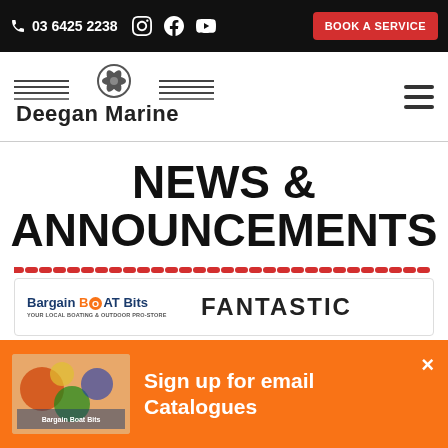03 6425 2238 | BOOK A SERVICE
[Figure (logo): Deegan Marine logo with propeller graphic and horizontal lines]
NEWS & ANNOUNCEMENTS
[Figure (logo): Bargain Boat Bits - Your Local Boating & Outdoor Pro-Store logo]
FANTASTIC
[Figure (infographic): Bargain Boat Bits orange popup banner with image and text: Sign up for email Catalogues]
Sign up for email Catalogues
BARGAIN BOAT BITS – YOUR LOCAL BOATING AND OUTDOOR PRO STORE FOR BOAT